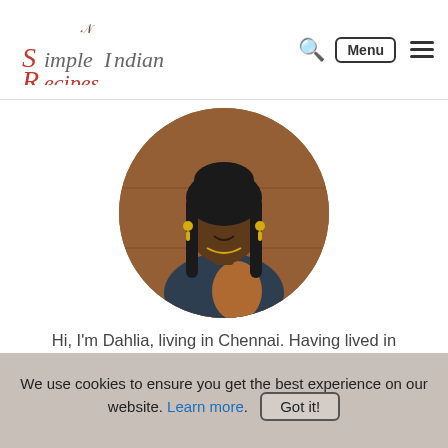Simple Indian Recipes | Menu
[Figure (photo): Circular profile photo of Dahlia, a woman with long dark hair wearing a saree, seated in front of a wooden background.]
Hi, I'm Dahlia, living in Chennai. Having lived in different parts of India and USA, I have been exposed to different cuisines. Trying new recipes is my passion. More about me »
We use cookies to ensure you get the best experience on our website. Learn more. Got it!